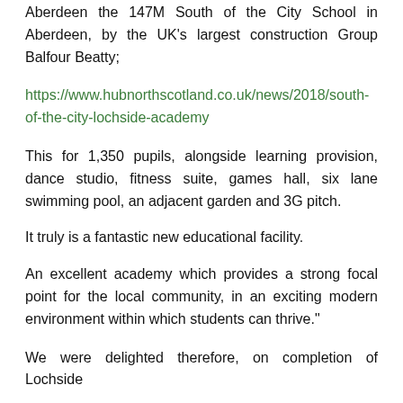Aberdeen the 147M South of the City School in Aberdeen, by the UK's largest construction Group Balfour Beatty;
https://www.hubnorthscotland.co.uk/news/2018/south-of-the-city-lochside-academy
This for 1,350 pupils, alongside learning provision, dance studio, fitness suite, games hall, six lane swimming pool, an adjacent garden and 3G pitch.
It truly is a fantastic new educational facility.
An excellent academy which provides a strong focal point for the local community, in an exciting modern environment within which students can thrive."
We were delighted therefore, on completion of Lochside